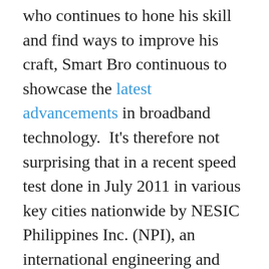who continues to hone his skill and find ways to improve his craft, Smart Bro continuous to showcase the latest advancements in broadband technology.  It's therefore not surprising that in a recent speed test done in July 2011 in various key cities nationwide by NESIC Philippines Inc. (NPI), an international engineering and telecommunications company, Smart Bro emerged as the faster broadband service, being faster than the competition in 99 out of 100 areas tested at peak speeds.  It is also faster in all areas tested at average speeds.  Impressive.
What gets me excited about Smart Bro is their